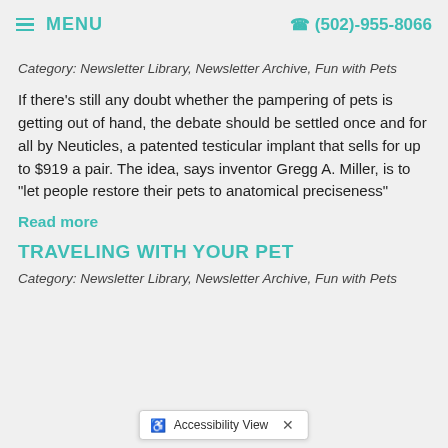MENU | (502)-955-8066
Category: Newsletter Library, Newsletter Archive, Fun with Pets
If there's still any doubt whether the pampering of pets is getting out of hand, the debate should be settled once and for all by Neuticles, a patented testicular implant that sells for up to $919 a pair. The idea, says inventor Gregg A. Miller, is to "let people restore their pets to anatomical preciseness"
Read more
TRAVELING WITH YOUR PET
Category: Newsletter Library, Newsletter Archive, Fun with Pets